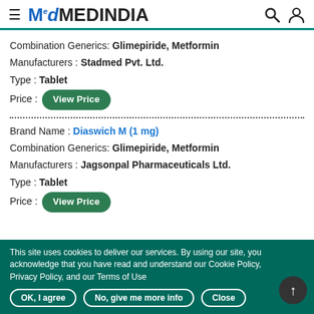MEDINDIA
Combination Generics: Glimepiride, Metformin
Manufacturers : Stadmed Pvt. Ltd.
Type : Tablet
Price : View Price
Brand Name : Diaswich M (1 mg)
Combination Generics: Glimepiride, Metformin
Manufacturers : Jagsonpal Pharmaceuticals Ltd.
Type : Tablet
Price : View Price
This site uses cookies to deliver our services. By using our site, you acknowledge that you have read and understand our Cookie Policy, Privacy Policy, and our Terms of Use